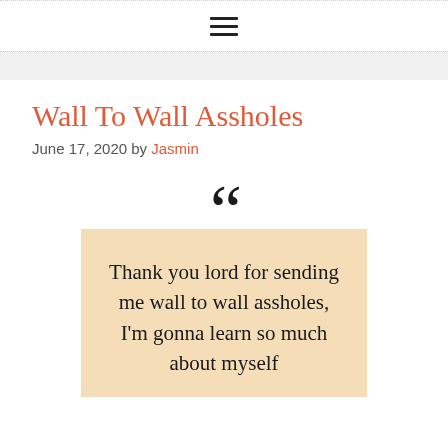≡
Wall To Wall Assholes
June 17, 2020 by Jasmin
Thank you lord for sending me wall to wall assholes, I'm gonna learn so much about myself